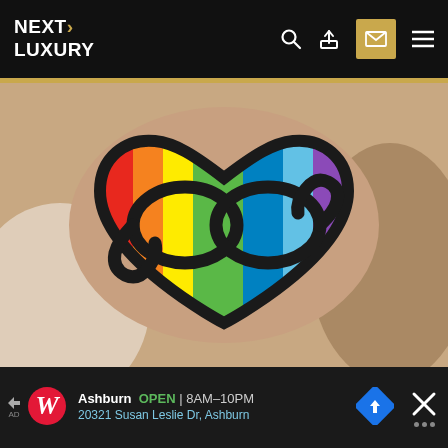NEXT LUXURY
[Figure (photo): A rainbow pride infinity heart tattoo on a person's forearm. The tattoo features a black outlined heart with an infinity symbol woven through it, filled with rainbow stripes (red, orange, yellow, green, blue, purple).]
Ashburn  OPEN  | 8AM-10PM
20321 Susan Leslie Dr, Ashburn